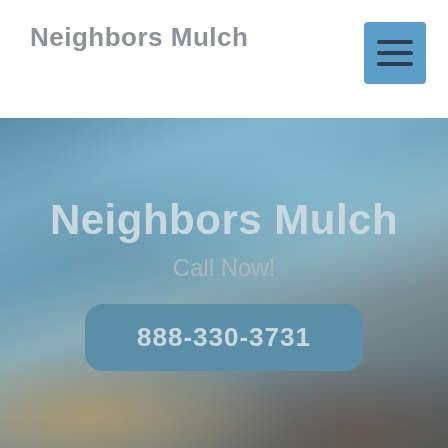Neighbors Mulch
[Figure (screenshot): Hamburger menu button (three horizontal lines) on a blue square background in the top right corner of the header]
[Figure (photo): Hero section with blurred outdoor background (sky, trees, building) in blue-grey tones with darker lower portion]
Neighbors Mulch
Call Now!
888-330-3731